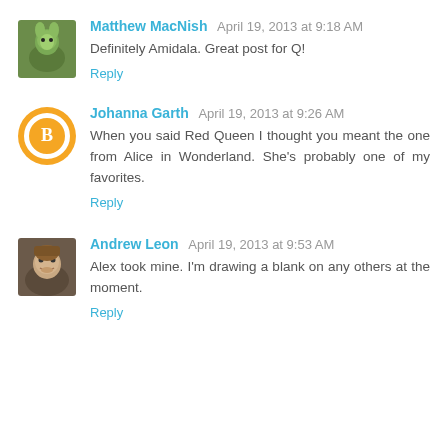Matthew MacNish April 19, 2013 at 9:18 AM
Definitely Amidala. Great post for Q!
Reply
Johanna Garth April 19, 2013 at 9:26 AM
When you said Red Queen I thought you meant the one from Alice in Wonderland. She's probably one of my favorites.
Reply
Andrew Leon April 19, 2013 at 9:53 AM
Alex took mine. I'm drawing a blank on any others at the moment.
Reply